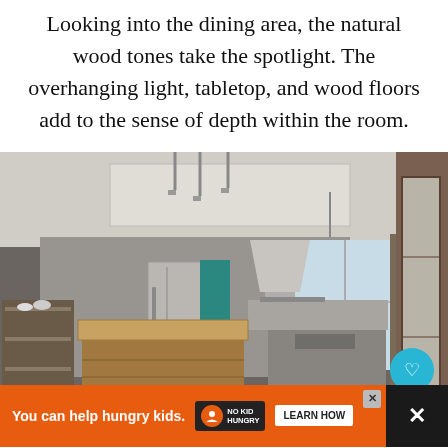Looking into the dining area, the natural wood tones take the spotlight. The overhanging light, tabletop, and wood floors add to the sense of depth within the room.
[Figure (photo): Interior kitchen/dining area photo showing a rustic wooden island, refrigerator, stainless steel range hood, pendant light, open shelving, dark wood floors, large windows with curtains, and a sliding door panel on the right. Social interaction buttons (heart, share count 153, share) overlay the right side. An advertisement banner for No Kid Hungry appears at the bottom.]